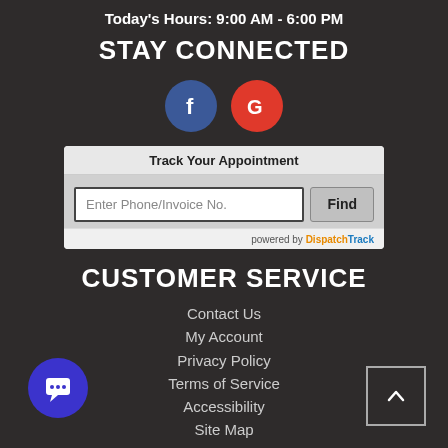Today's Hours: 9:00 AM - 6:00 PM
STAY CONNECTED
[Figure (illustration): Facebook and Google social media icons as colored circles with letters f and G]
[Figure (screenshot): Track Your Appointment widget with text input 'Enter Phone/Invoice No.' and a Find button, powered by DispatchTrack]
CUSTOMER SERVICE
Contact Us
My Account
Privacy Policy
Terms of Service
Accessibility
Site Map
Do Not Sell My Personal Information